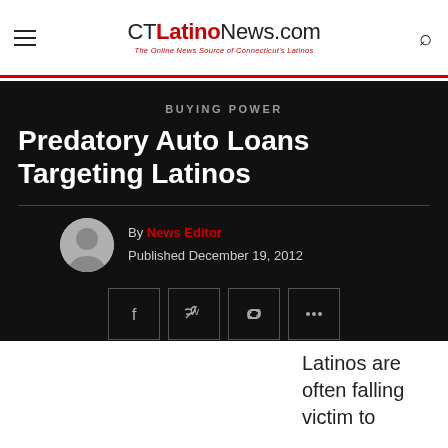CTLatinoNews.com — The Online News Source of Connecticut's Latinos
BUYING POWER
Predatory Auto Loans Targeting Latinos
By News Editor
Published December 19, 2012
Latinos are often falling victim to